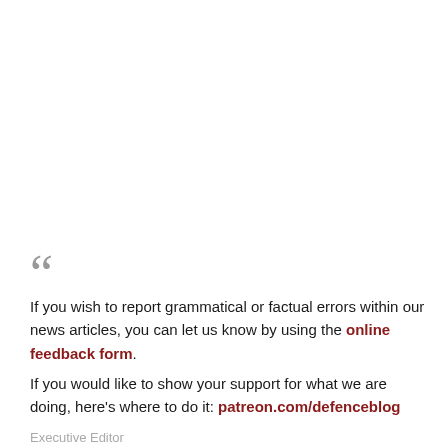““
If you wish to report grammatical or factual errors within our news articles, you can let us know by using the online feedback form.
If you would like to show your support for what we are doing, here’s where to do it: patreon.com/defenceblog
Executive Editor